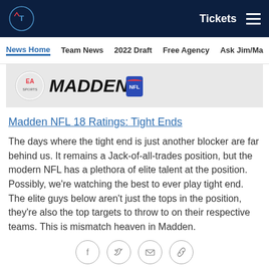Tennessee Titans navigation bar with logo, Tickets, and menu icon
News Home | Team News | 2022 Draft | Free Agency | Ask Jim/Ma
[Figure (logo): EA Sports Madden NFL banner/logo]
Madden NFL 18 Ratings: Tight Ends
The days where the tight end is just another blocker are far behind us. It remains a Jack-of-all-trades position, but the modern NFL has a plethora of elite talent at the position. Possibly, we're watching the best to ever play tight end. The elite guys below aren't just the tops in the position, they're also the top targets to throw to on their respective teams. This is mismatch heaven in Madden.
[Figure (infographic): Social sharing icons: Facebook, Twitter, Email, Link]